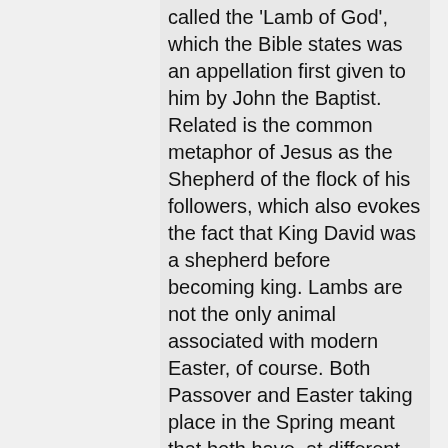called the 'Lamb of God', which the Bible states was an appellation first given to him by John the Baptist. Related is the common metaphor of Jesus as the Shepherd of the flock of his followers, which also evokes the fact that King David was a shepherd before becoming king. Lambs are not the only animal associated with modern Easter, of course. Both Passover and Easter taking place in the Spring meant that both have, at different points of history, taken on aspects from pre-existing pagan spring festivals celebrating new life in the more prosaic sense (the name 'Easter' is of pagan origins). Eggs and chicks are invoked as a symbol of this. The more obscure example of